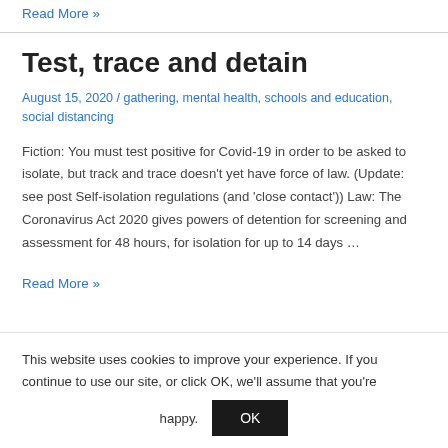Read More »
Test, trace and detain
August 15, 2020 / gathering, mental health, schools and education, social distancing
Fiction: You must test positive for Covid-19 in order to be asked to isolate, but track and trace doesn't yet have force of law. (Update: see post Self-isolation regulations (and 'close contact')) Law: The Coronavirus Act 2020 gives powers of detention for screening and assessment for 48 hours, for isolation for up to 14 days …
Read More »
This website uses cookies to improve your experience. If you continue to use our site, or click OK, we'll assume that you're happy.